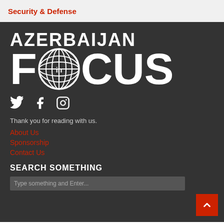Security & Defense
[Figure (logo): Azerbaijan in Focus logo — white bold text 'AZERBAIJAN' above large 'FOCUS' with globe icon replacing the 'O', on dark background]
[Figure (infographic): Social media icons: Twitter (bird), Facebook (f), Instagram (circle camera) in white]
Thank you for reading with us.
About Us
Sponsorship
Contact Us
SEARCH SOMETHING